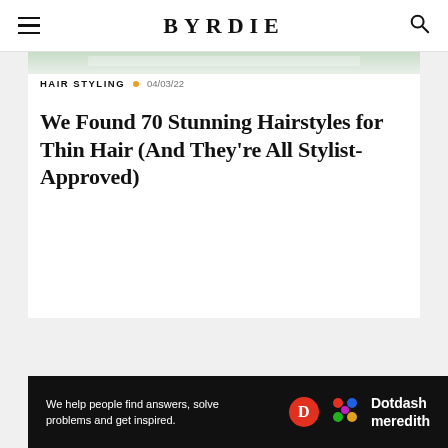BYRDIE
[Figure (photo): Partial top of hair styling article hero image, light green/white tones]
HAIR STYLING • 04/03/22
We Found 70 Stunning Hairstyles for Thin Hair (And They're All Stylist-Approved)
[Figure (infographic): Dotdash Meredith advertisement banner: 'We help people find answers, solve problems and get inspired.' with Dotdash D logo and colorful Meredith logo]